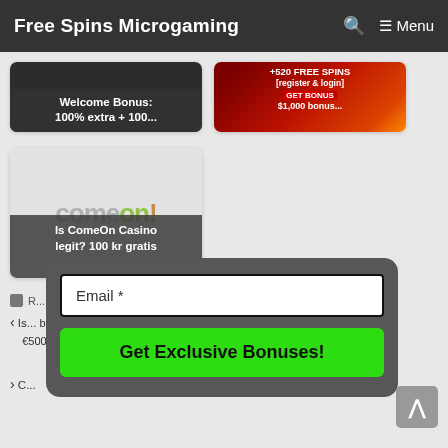Free Spins Microgaming  🔍 ≡ Menu
[Figure (screenshot): Card with dark background showing 'Welcome Bonus: 100% extra + 100...' text overlay]
[Figure (screenshot): Card with red background showing '+520 FREE SPINS [register & login] GET BONUS $1,000 bonus...' text overlay]
[Figure (screenshot): ComeOn Casino card with logo and overlay text 'Is ComeOn Casino legit? 100 kr gratis free no...']
R...
< Is... bonus €500...
> C...
Email *
Get Exclusive Bonuses!